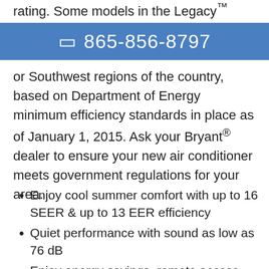rating. Some models in the Legacy™ Line may
☎ 865-856-8797
or Southwest regions of the country, based on Department of Energy minimum efficiency standards in place as of January 1, 2015. Ask your Bryant® dealer to ensure your new air conditioner meets government regulations for your area.
Enjoy cool summer comfort with up to 16 SEER & up to 13 EER efficiency
Quiet performance with sound as low as 76 dB
Enjoy energy savings, remote access capability and in-depth energy reporting